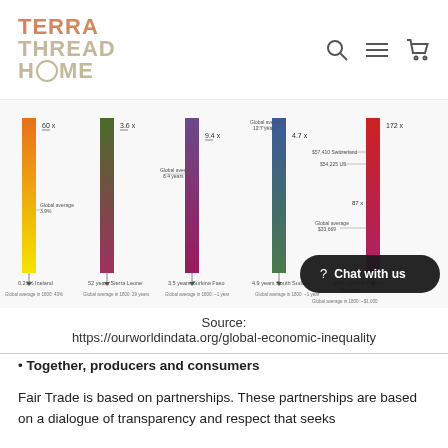TERRA THREAD HOME
[Figure (infographic): Multi-column infographic showing global inequality metrics. Five vertical gradient bars representing different indicators. Column 1: 60x ratio, Global average 3.9%, 0.21% Iceland. Column 2: 3.6x ratio, 52 years Sierra Leone. Column 3: 9.4x ratio, Global average 8.4 years, 3.5 years Burkina Faso. Column 4: 4.7x ratio, Global average 12.7 years, 4.9 years South Sudan. Column 5: 172x ratio, $57,410 Switzerland, $54,225 US, 87x ratio, Global average $33,669, $661 Central African Republic.]
Source:
https://ourworldindata.org/global-economic-inequality
Together, producers and consumers
Fair Trade is based on partnerships. These partnerships are based on a dialogue of transparency and respect that seeks greater equity in international trade.